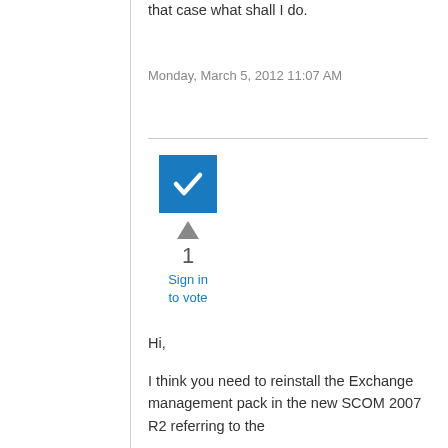that case what shall I do.
Monday, March 5, 2012 11:07 AM
[Figure (other): Blue checkbox with white checkmark, upward triangle arrow, vote count 1, and 'Sign in to vote' link]
Hi,
I think you need to reinstall the Exchange management pack in the new SCOM 2007 R2 referring to the